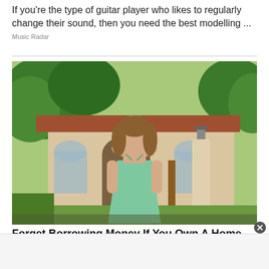If you're the type of guitar player who likes to regularly change their sound, then you need the best modelling ...
Music Radar
[Figure (photo): Woman in mint green dress standing in front of a Spanish-style house with arched doorways, trees, and outdoor lamp in background.]
Forget Borrowing Money If You Own A Home, Do This Instead (It's Genius)